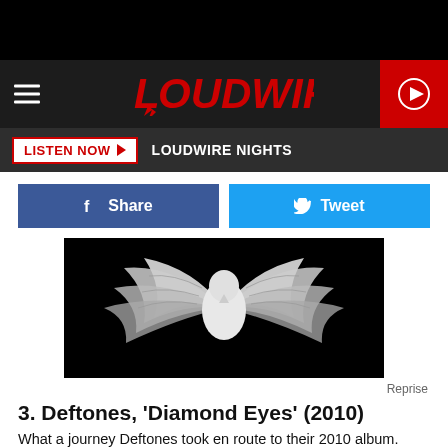LOUDWIRE
LISTEN NOW  LOUDWIRE NIGHTS
Share  Tweet
[Figure (photo): Album art for Deftones Diamond Eyes (2010) — a close-up of a white sculptural bird figure with wings spread against a black background. Label: Reprise.]
Reprise
3. Deftones, 'Diamond Eyes' (2010)
What a journey Deftones took en route to their 2010 album. After bassist Chi Cheng was involved in an auto accident that left him in a semi-comatose state, the group scrapped their Eros album and started fresh. Welcoming fill-in bassist Sergio Vega, the group approached their music in a more